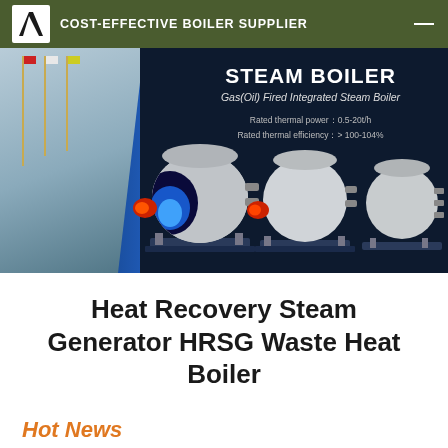COST-EFFECTIVE BOILER SUPPLIER
[Figure (photo): Banner showing steam boilers (Gas(Oil) Fired Integrated Steam Boiler) against a dark navy background with a building facade on the left. Text overlay: STEAM BOILER, Gas(Oil) Fired Integrated Steam Boiler, Rated thermal power: 0.5-20t/h, Rated thermal efficiency: > 100-104%]
Heat Recovery Steam Generator HRSG Waste Heat Boiler
Hot News